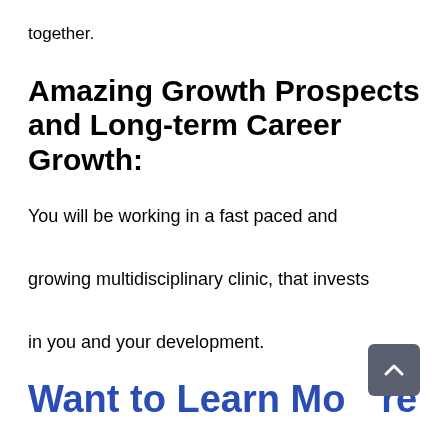together.
Amazing Growth Prospects and Long-term Career Growth:
You will be working in a fast paced and growing multidisciplinary clinic, that invests in you and your development.
Want to Learn More